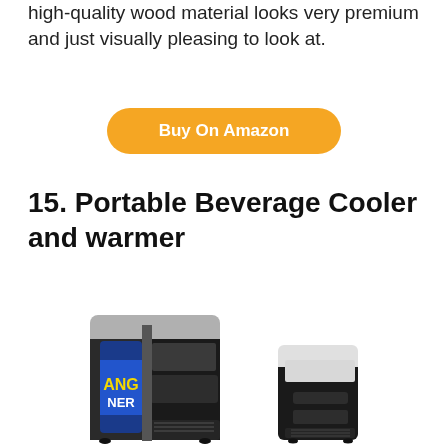high-quality wood material looks very premium and just visually pleasing to look at.
Buy On Amazon
15. Portable Beverage Cooler and warmer
[Figure (photo): Two mini portable USB beverage cooler and warmer units. The left one is larger, black and grey, with an energy drink can visible inside its open door. The right one is smaller, black and white, shown closed.]